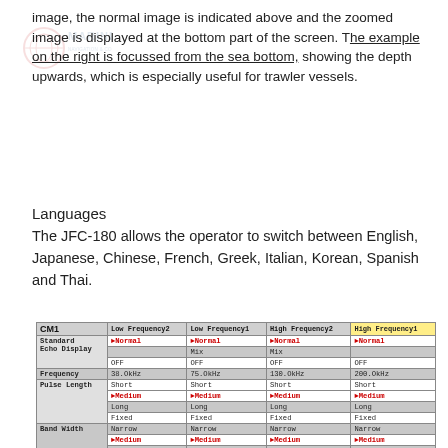image, the normal image is indicated above and the zoomed image is displayed at the bottom part of the screen. The example on the right is focussed from the sea bottom, showing the depth upwards, which is especially useful for trawler vessels.
Languages
The JFC-180 allows the operator to switch between English, Japanese, Chinese, French, Greek, Italian, Korean, Spanish and Thai.
| CM1 | Low Frequency2 | Low Frequency1 | High Frequency2 | High Frequency1 |
| --- | --- | --- | --- | --- |
| Standard Echo Display | ►Normal | ►Normal | ►Normal | ►Normal |
|  |  | Mix | Mix |  |
|  | OFF | OFF | OFF | OFF |
| Frequency | 38.OkHz | 75.OkHz | 130.OkHz | 200.OkHz |
| Pulse Length | Short | Short | Short | Short |
|  | ►Medium | ►Medium | ►Medium | ►Medium |
|  | Long | Long | Long | Long |
|  | Fixed | Fixed | Fixed | Fixed |
| Band Width | Narrow | Narrow | Narrow | Narrow |
|  | ►Medium | ►Medium | ►Medium | ►Medium |
|  | Wide | Wide | Wide | Wide |
|  | Fixed | Fixed | Fixed | Fixed |
| Zoom Display | ►OFF | ►OFF | ►OFF | ►OFF |
|  | Bottom | Bottom | Bottom | Bottom |
|  | B.D. | B.D. | B.D. | B.D. |
|  | Zoom | Zoom | Zoom | Zoom |